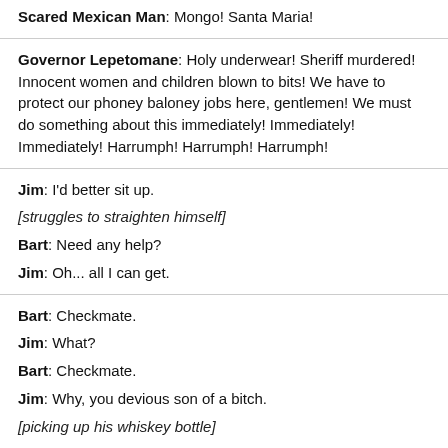Scared Mexican Man: Mongo! Santa Maria!
Governor Lepetomane: Holy underwear! Sheriff murdered! Innocent women and children blown to bits! We have to protect our phoney baloney jobs here, gentlemen! We must do something about this immediately! Immediately! Immediately! Harrumph! Harrumph! Harrumph!
Jim: I'd better sit up.
[struggles to straighten himself]
Bart: Need any help?
Jim: Oh... all I can get.
Bart: Checkmate.
Jim: What?
Bart: Checkmate.
Jim: Why, you devious son of a bitch.
[picking up his whiskey bottle]
Jim: Happy days.